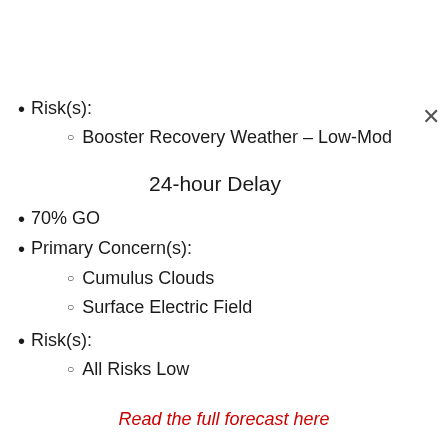Risk(s):
Booster Recovery Weather – Low-Mod
24-hour Delay
70% GO
Primary Concern(s):
Cumulus Clouds
Surface Electric Field
Risk(s):
All Risks Low
Read the full forecast here